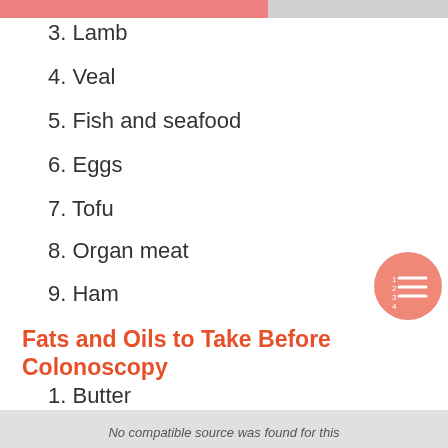3. Lamb
4. Veal
5. Fish and seafood
6. Eggs
7. Tofu
8. Organ meat
9. Ham
Fats and Oils to Take Before Colonoscopy
1. Butter
2. Margarine
3. Vegetable and other oils
No compatible source was found for this